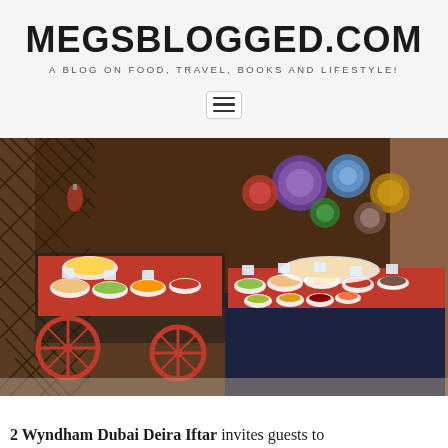Reservations Call: 04 207 1717
MEGSBLOGGED.COM
A BLOG ON FOOD, TRAVEL, BOOKS AND LIFESTYLE!
[Figure (photo): A food buffet spread with red tablecloths, multiple bowls of food, a wooden cart with red wheels, decorative plates on a dark wood wall in the background, and a lattice screen on the left.]
2 Wyndham Dubai Deira Iftar invites guests to